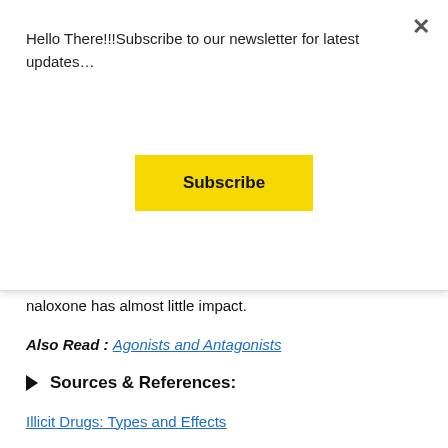Hello There!!!Subscribe to our newsletter for latest updates…
[Figure (other): Yellow Subscribe button]
naloxone has almost little impact.
Also Read : Agonists and Antagonists
▶ Sources & References:
Illicit Drugs: Types and Effects
Heroin
Story of Doctor Death